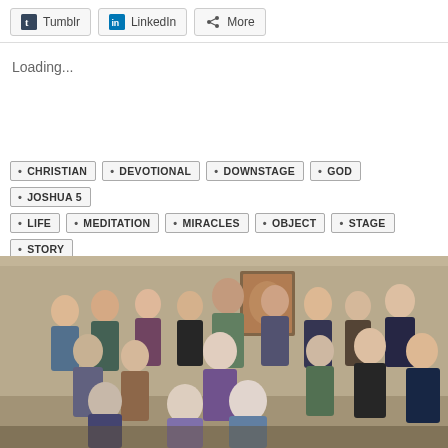[Figure (screenshot): Social sharing buttons: Tumblr, LinkedIn, More]
Loading...
CHRISTIAN
DEVOTIONAL
DOWNSTAGE
GOD
JOSHUA 5
LIFE
MEDITATION
MIRACLES
OBJECT
STAGE
STORY
THEATRE
UPSTAGE
[Figure (photo): Group photo of approximately 20 people, some seated, some standing, in an indoor setting with warm tan walls. Many are making expressive faces.]